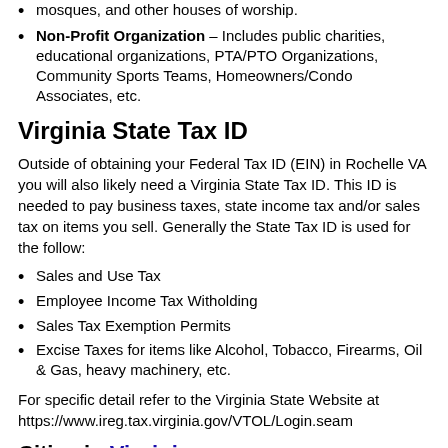mosques, and other houses of worship.
Non-Profit Organization – Includes public charities, educational organizations, PTA/PTO Organizations, Community Sports Teams, Homeowners/Condo Associates, etc.
Virginia State Tax ID
Outside of obtaining your Federal Tax ID (EIN) in Rochelle VA you will also likely need a Virginia State Tax ID. This ID is needed to pay business taxes, state income tax and/or sales tax on items you sell. Generally the State Tax ID is used for the follow:
Sales and Use Tax
Employee Income Tax Witholding
Sales Tax Exemption Permits
Excise Taxes for items like Alcohol, Tobacco, Firearms, Oil & Gas, heavy machinery, etc.
For specific detail refer to the Virginia State Website at https://www.ireg.tax.virginia.gov/VTOL/Login.seam
Cities in Virginia